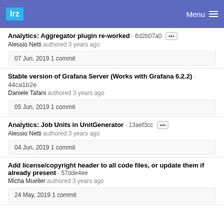lrz  Menu
Analytics: Aggregator plugin re-worked · 6d2b07a0 [···]
Alessio Netti authored 3 years ago
07 Jun, 2019 1 commit
Stable version of Grafana Server (Works with Grafana 6.2.2) · 44ca1b2e
Daniele Tafani authored 3 years ago
05 Jun, 2019 1 commit
Analytics: Job Units in UnitGenerator · 13aef3cc [···]
Alessio Netti authored 3 years ago
04 Jun, 2019 1 commit
Add license/copyright header to all code files, or update them if already present · 57dde4ee
Micha Mueller authored 3 years ago
24 May, 2019 1 commit